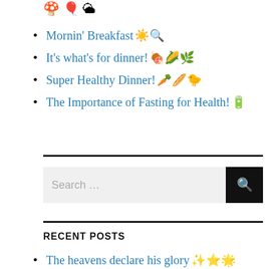🍄 🎈 🌥
Mornin' Breakfast ☀️🔍
It's what's for dinner! 🍖🌽🌿
Super Healthy Dinner! 🥕🥖🐤
The Importance of Fasting for Health! 🔋
[Figure (other): Search bar with text input field and search button]
RECENT POSTS
The heavens declare his glory ✨⭐🌟